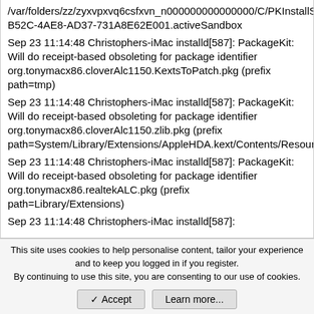/var/folders/zz/zyxvpxvq6csfxvn_n000000000000000/C/PKInstallSandboxManager/BBA5367A-B52C-4AE8-AD37-731A8E62E001.activeSandbox
Sep 23 11:14:48 Christophers-iMac installd[587]: PackageKit: Will do receipt-based obsoleting for package identifier org.tonymacx86.cloverAlc1150.KextsToPatch.pkg (prefix path=tmp)
Sep 23 11:14:48 Christophers-iMac installd[587]: PackageKit: Will do receipt-based obsoleting for package identifier org.tonymacx86.cloverAlc1150.zlib.pkg (prefix path=System/Library/Extensions/AppleHDA.kext/Contents/Resources)
Sep 23 11:14:48 Christophers-iMac installd[587]: PackageKit: Will do receipt-based obsoleting for package identifier org.tonymacx86.realtekALC.pkg (prefix path=Library/Extensions)
Sep 23 11:14:48 Christophers-iMac installd[587]:
This site uses cookies to help personalise content, tailor your experience and to keep you logged in if you register.
By continuing to use this site, you are consenting to our use of cookies.
Accept
Learn more...